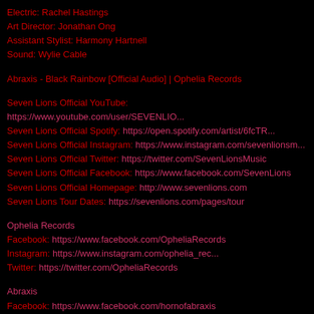Electric: Rachel Hastings
Art Director: Jonathan Ong
Assistant Stylist: Harmony Hartnell
Sound: Wylie Cable
Abraxis - Black Rainbow [Official Audio] | Ophelia Records
Seven Lions Official YouTube: https://www.youtube.com/user/SEVENLIO...
Seven Lions Official Spotify: https://open.spotify.com/artist/6fcTR...
Seven Lions Official Instagram: https://www.instagram.com/sevenlionsm...
Seven Lions Official Twitter: https://twitter.com/SevenLionsMusic
Seven Lions Official Facebook: https://www.facebook.com/SevenLions
Seven Lions Official Homepage: http://www.sevenlions.com
Seven Lions Tour Dates: https://sevenlions.com/pages/tour
Ophelia Records
Facebook: https://www.facebook.com/OpheliaRecords
Instagram: https://www.instagram.com/ophelia_rec...
Twitter: https://twitter.com/OpheliaRecords
Abraxis
Facebook: https://www.facebook.com/hornofabraxis